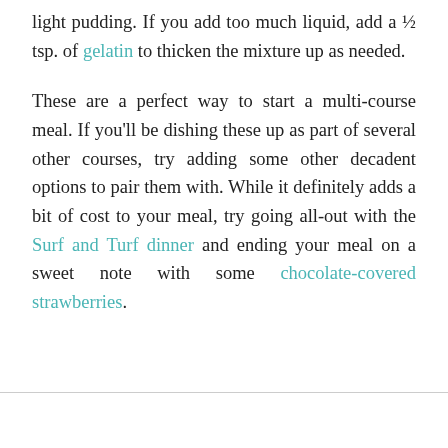light pudding. If you add too much liquid, add a ½ tsp. of gelatin to thicken the mixture up as needed.
These are a perfect way to start a multi-course meal. If you'll be dishing these up as part of several other courses, try adding some other decadent options to pair them with. While it definitely adds a bit of cost to your meal, try going all-out with the Surf and Turf dinner and ending your meal on a sweet note with some chocolate-covered strawberries.